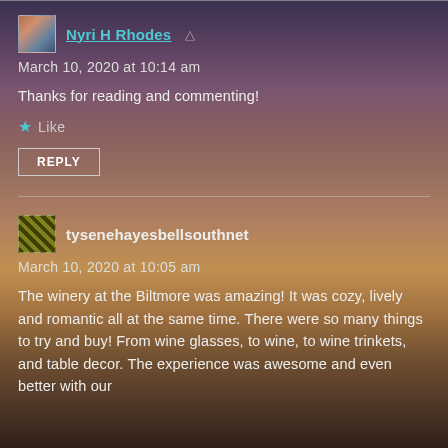Nyri H Rhodes
March 10, 2020 at 10:14 am
Thanks for reading and commenting!
Like
REPLY
tysenehayesbellsouthnet
March 10, 2020 at 10:05 am
The winery at the Biltmore was amazing! It was cozy, lively and romantic all at the same time. There were so many things to try and buy! From wine glasses, to wine, to wine trinkets, and table decor. The experience was awesome and even better with our